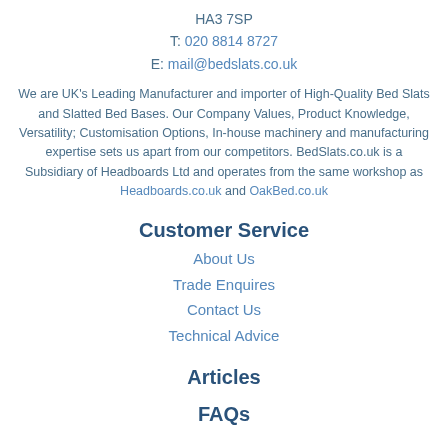HA3 7SP
T: 020 8814 8727
E: mail@bedslats.co.uk
We are UK's Leading Manufacturer and importer of High-Quality Bed Slats and Slatted Bed Bases. Our Company Values, Product Knowledge, Versatility; Customisation Options, In-house machinery and manufacturing expertise sets us apart from our competitors. BedSlats.co.uk is a Subsidiary of Headboards Ltd and operates from the same workshop as Headboards.co.uk and OakBed.co.uk
Customer Service
About Us
Trade Enquires
Contact Us
Technical Advice
Articles
FAQs